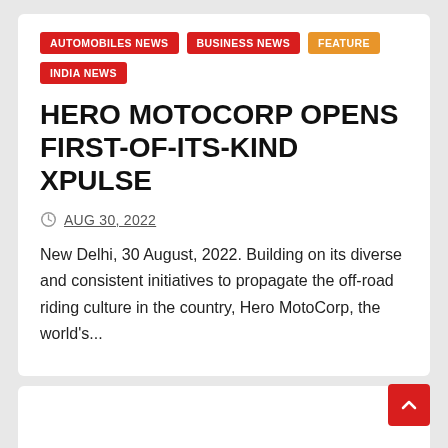AUTOMOBILES NEWS
BUSINESS NEWS
FEATURE
INDIA NEWS
HERO MOTOCORP OPENS FIRST-OF-ITS-KIND XPULSE
AUG 30, 2022
New Delhi, 30 August, 2022. Building on its diverse and consistent initiatives to propagate the off-road riding culture in the country, Hero MotoCorp, the world's...